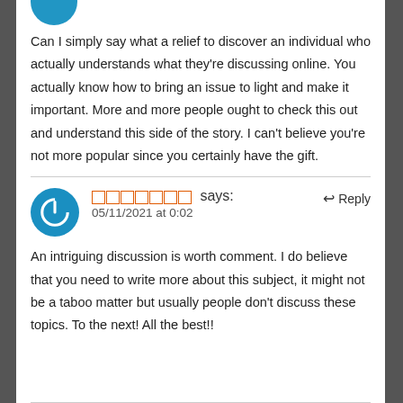Can I simply say what a relief to discover an individual who actually understands what they’re discussing online. You actually know how to bring an issue to light and make it important. More and more people ought to check this out and understand this side of the story. I can't believe you're not more popular since you certainly have the gift.
□□□□□□□ says: 05/11/2021 at 0:02
An intriguing discussion is worth comment. I do believe that you need to write more about this subject, it might not be a taboo matter but usually people don't discuss these topics. To the next! All the best!!